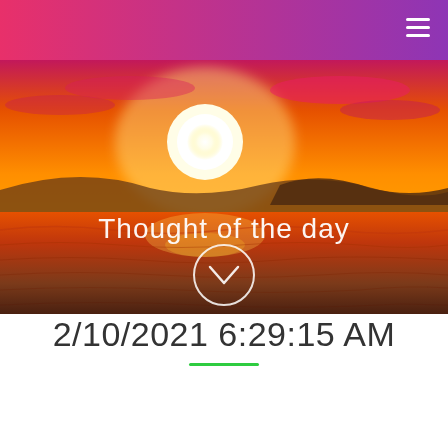[Figure (photo): Sunset over the ocean with bright white and yellow sun near horizon, orange and golden sky, silhouettes of distant mountains, ocean water reflecting orange light. Text overlay reads 'Thought of the day' with a circular chevron/down arrow button below it.]
2/10/2021 6:29:15 AM